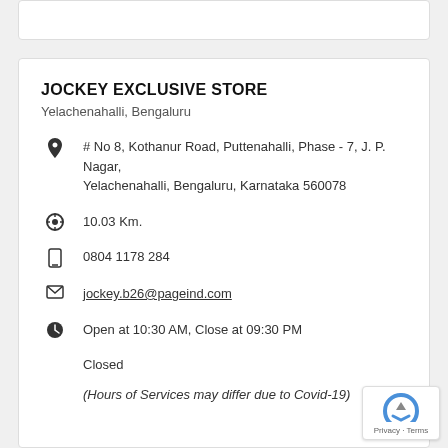JOCKEY EXCLUSIVE STORE
Yelachenahalli, Bengaluru
# No 8, Kothanur Road, Puttenahalli, Phase - 7, J. P. Nagar, Yelachenahalli, Bengaluru, Karnataka 560078
10.03 Km.
0804 1178 284
jockey.b26@pageind.com
Open at 10:30 AM, Close at 09:30 PM
Closed
(Hours of Services may differ due to Covid-19)